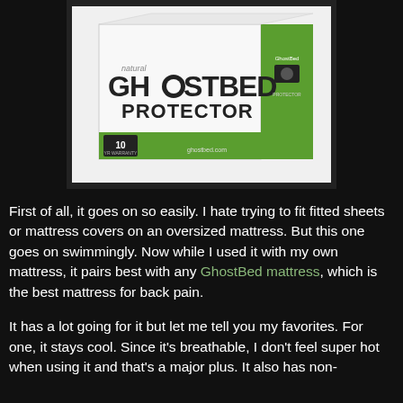[Figure (photo): Product photo of GhostBed Protector mattress protector box, white and green packaging, on dark background]
First of all, it goes on so easily. I hate trying to fit fitted sheets or mattress covers on an oversized mattress. But this one goes on swimmingly. Now while I used it with my own mattress, it pairs best with any GhostBed mattress, which is the best mattress for back pain.
It has a lot going for it but let me tell you my favorites. For one, it stays cool. Since it's breathable, I don't feel super hot when using it and that's a major plus. It also has non-